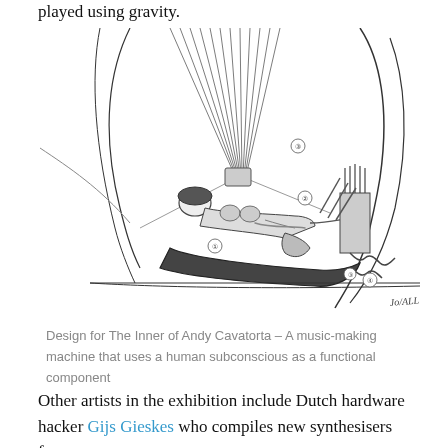played using gravity.
[Figure (illustration): A detailed pen-and-ink design sketch for 'The Inner of Andy Cavatorta' showing a reclining human figure suspended in a mechanical music-making apparatus with strings, cables, and mechanical components. Numbered labels (1-5) indicate parts of the device. Signed by the artist.]
Design for The Inner of Andy Cavatorta – A music-making machine that uses a human subconscious as a functional component
Other artists in the exhibition include Dutch hardware hacker Gijs Gieskes who compiles new synthesisers from